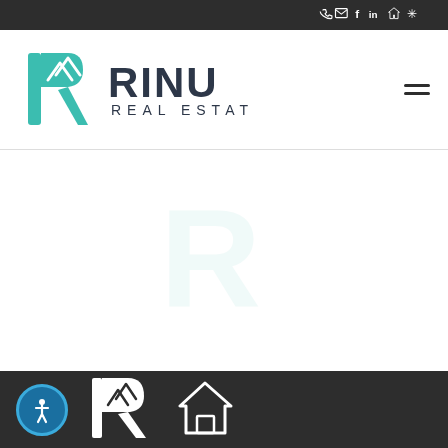Social icons bar: phone, email, facebook, linkedin, realtor, yelp
[Figure (logo): RINU Real Estate logo with teal mountain/R icon and dark grey RINU REAL ESTATE text]
[Figure (screenshot): Empty white content area]
[Figure (logo): RINU Real Estate white R icon logo in dark footer]
[Figure (logo): House icon logo in dark footer]
[Figure (illustration): Accessibility icon - person in circle in dark footer]